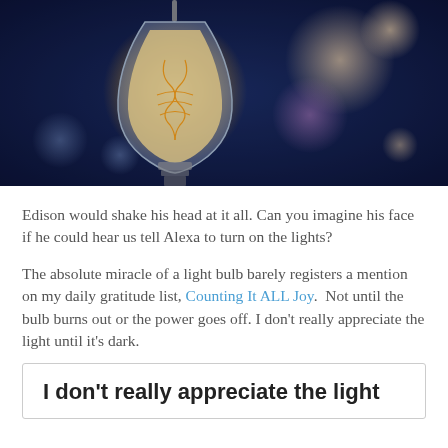[Figure (photo): Close-up photograph of a glowing Edison-style incandescent light bulb hanging against a dark blue bokeh background with blurred lights]
Edison would shake his head at it all. Can you imagine his face if he could hear us tell Alexa to turn on the lights?
The absolute miracle of a light bulb barely registers a mention on my daily gratitude list, Counting It ALL Joy.  Not until the bulb burns out or the power goes off. I don't really appreciate the light until it's dark.
I don't really appreciate the light